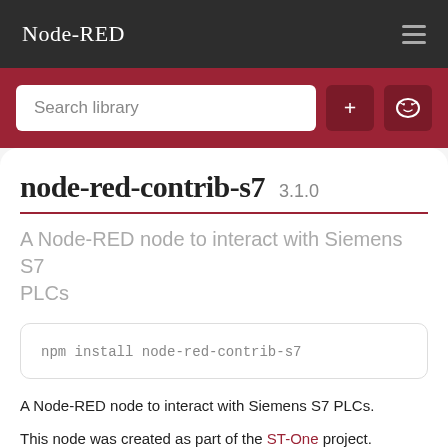Node-RED
Search library
node-red-contrib-s7  3.1.0
A Node-RED node to interact with Siemens S7 PLCs
npm install node-red-contrib-s7
A Node-RED node to interact with Siemens S7 PLCs.
This node was created as part of the ST-One project.